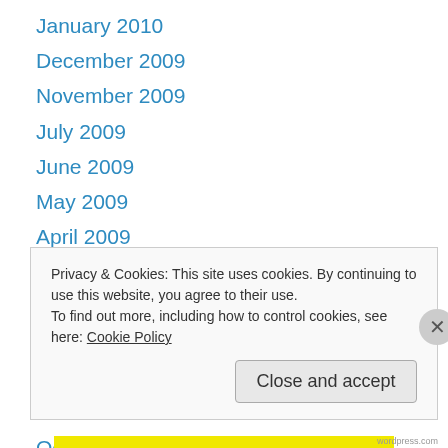January 2010
December 2009
November 2009
July 2009
June 2009
May 2009
April 2009
March 2009
February 2009
January 2009
December 2008
November 2008
October 2008
Privacy & Cookies: This site uses cookies. By continuing to use this website, you agree to their use. To find out more, including how to control cookies, see here: Cookie Policy
Close and accept